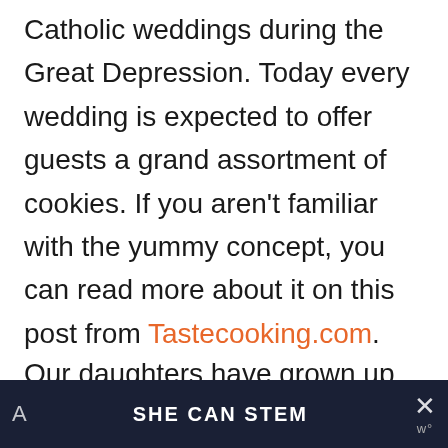Catholic weddings during the Great Depression. Today every wedding is expected to offer guests a grand assortment of cookies. If you aren't familiar with the yummy concept, you can read more about it on this post from Tastecooking.com.
Our daughters have grown up in
A   SHE CAN STEM   ol× w°